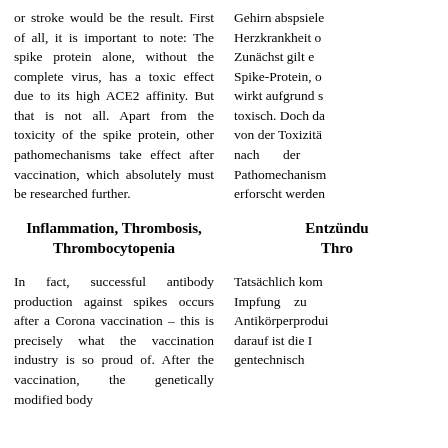or stroke would be the result. First of all, it is important to note: The spike protein alone, without the complete virus, has a toxic effect due to its high ACE2 affinity. But that is not all. Apart from the toxicity of the spike protein, other pathomechanisms take effect after vaccination, which absolutely must be researched further.
Gehirn abspsiele... Herzkrankheit o... Zunächst gilt e... Spike-Protein, c... wirkt aufgrund s... toxisch. Doch da... von der Toxizitä... nach der ... Pathomechanism... erforscht werden...
Inflammation, Thrombosis, Thrombocytopenia
Entzündu... Thro...
In fact, successful antibody production against spikes occurs after a Corona vaccination – this is precisely what the vaccination industry is so proud of. After the vaccination, the genetically modified body
Tatsächlich kom... Impfung zu... Antikörperprodui... darauf ist die I... gentechnisch...